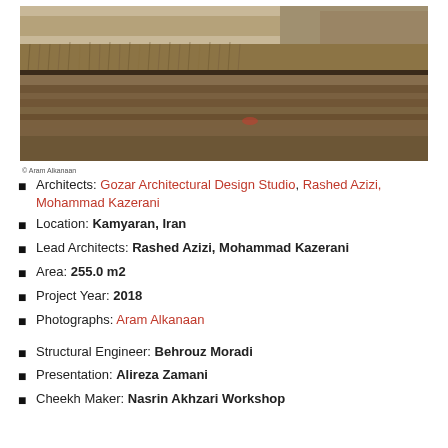[Figure (photo): Photograph of a riverbank with dry grasses and muddy embankment reflected in still water, earthy tones of brown and tan]
© Aram Alkanaan
Architects: Gozar Architectural Design Studio, Rashed Azizi, Mohammad Kazerani
Location: Kamyaran, Iran
Lead Architects: Rashed Azizi, Mohammad Kazerani
Area: 255.0 m2
Project Year: 2018
Photographs: Aram Alkanaan
Structural Engineer: Behrouz Moradi
Presentation: Alireza Zamani
Cheekh Maker: Nasrin Akhzari Workshop